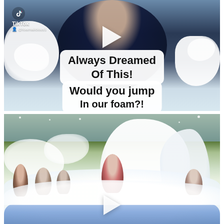[Figure (screenshot): TikTok video screenshot showing a person covered in foam with text overlays 'Always Dreamed Of This!' and 'Would you jump In our foam?!', TikTok logo and @foamalicious1 username visible, white play button icon in center]
[Figure (screenshot): TikTok video screenshot showing children and adults playing in a large foam pit/inflatable pool with a large foam pile in the background, white play button icon at bottom center]